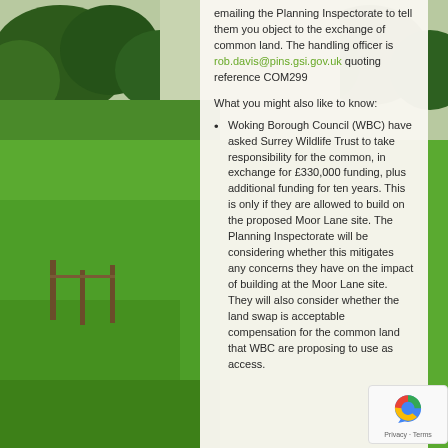[Figure (photo): Background photograph of a green countryside/common land scene with trees and fields.]
emailing the Planning Inspectorate to tell them you object to the exchange of common land. The handling officer is rob.davis@pins.gsi.gov.uk quoting reference COM299
What you might also like to know:
Woking Borough Council (WBC) have asked Surrey Wildlife Trust to take responsibility for the common, in exchange for £330,000 funding, plus additional funding for ten years. This is only if they are allowed to build on the proposed Moor Lane site. The Planning Inspectorate will be considering whether this mitigates any concerns they have on the impact of building at the Moor Lane site. They will also consider whether the land swap is acceptable compensation for the common land that WBC are proposing to use as access.